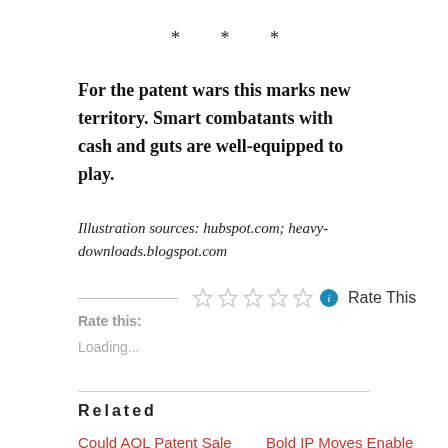* * *
For the patent wars this marks new territory. Smart combatants with cash and guts are well-equipped to play.
Illustration sources: hubspot.com; heavy-downloads.blogspot.com
Rate this:  Rate This
Loading...
Related
Could AOL Patent Sale
Bold IP Moves Enable